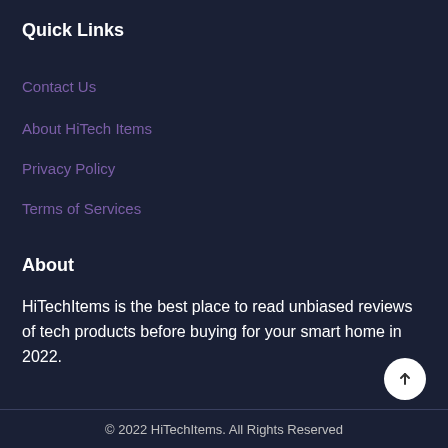Quick Links
Contact Us
About HiTech Items
Privacy Policy
Terms of Services
About
HiTechItems is the best place to read unbiased reviews of tech products before buying for your smart home in 2022.
© 2022 HiTechItems. All Rights Reserved